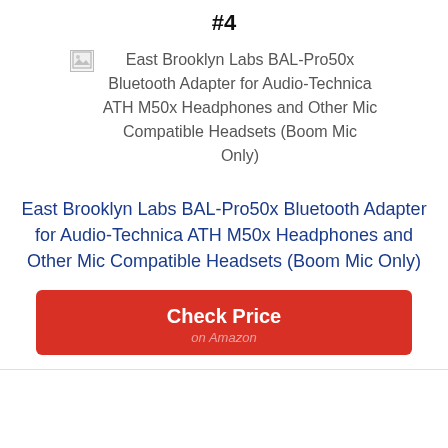#4
[Figure (photo): Broken image placeholder for East Brooklyn Labs BAL-Pro50x Bluetooth Adapter for Audio-Technica ATH M50x Headphones and Other Mic Compatible Headsets (Boom Mic Only)]
East Brooklyn Labs BAL-Pro50x Bluetooth Adapter for Audio-Technica ATH M50x Headphones and Other Mic Compatible Headsets (Boom Mic Only)
Check Price on Amazon